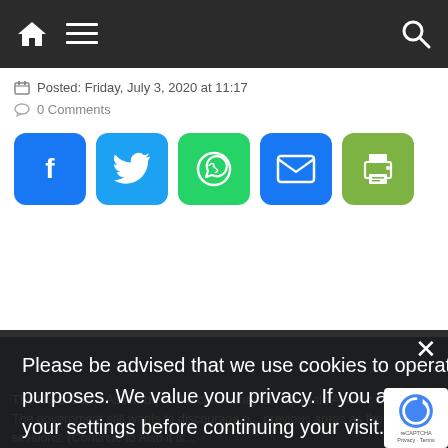Navigation bar with home, menu, and search icons
Posted: Friday, July 3, 2020 at 11:17
0 Comments
[Figure (infographic): Social share buttons: Facebook (blue), Twitter (light blue), WhatsApp (green), Email (blue), Print (olive green)]
Please be advised that we use cookies to operate and enhance our services as well as for advertising purposes. We value your privacy. If you are not comfortable with us using this information, please review your settings before continuing your visit.
Manage your navigation settings
Find out more
The Nunatsiavut Assembly in the community of Hopedale Atlantic Canada. The government still wants to discourage o... previous areas as their sessions. (Continue to Also it is...